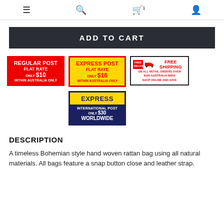Navigation icons: menu, search, cart (1), user
ADD TO CART
[Figure (infographic): Regular Post Flat Rate only $10 Within Australia Only (red badge)]
[Figure (infographic): Express Post Flat Rate only $16 Within Australia Only (yellow/red badge)]
[Figure (infographic): Free Shipping on all retail orders over $100 Australia Wide Shop Online and Save]
[Figure (infographic): Express International Post only $30 Worldwide (yellow/navy badge)]
DESCRIPTION
A timeless Bohemian style hand woven rattan bag using all natural materials. All bags feature a snap button close and leather strap...